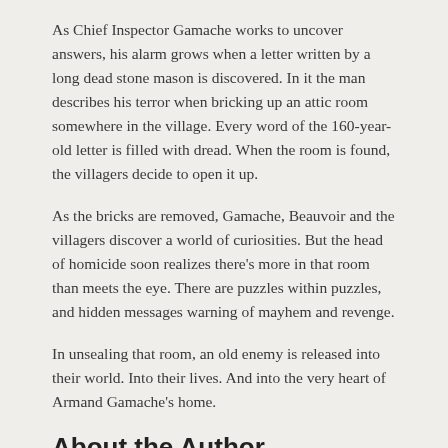As Chief Inspector Gamache works to uncover answers, his alarm grows when a letter written by a long dead stone mason is discovered. In it the man describes his terror when bricking up an attic room somewhere in the village. Every word of the 160-year-old letter is filled with dread. When the room is found, the villagers decide to open it up.
As the bricks are removed, Gamache, Beauvoir and the villagers discover a world of curiosities. But the head of homicide soon realizes there's more in that room than meets the eye. There are puzzles within puzzles, and hidden messages warning of mayhem and revenge.
In unsealing that room, an old enemy is released into their world. Into their lives. And into the very heart of Armand Gamache's home.
About the Author
LOUISE PENNY is the author of the #1 New York Times, USA Today, and Globe and Mail bestselling series of Chief Inspector